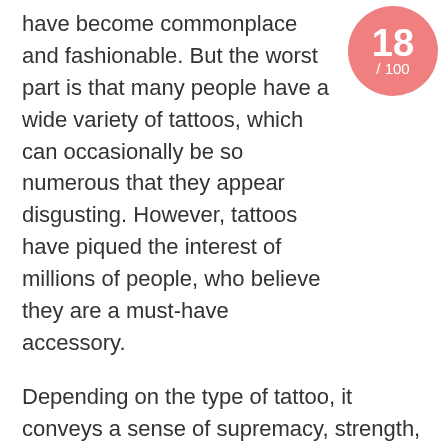[Figure (other): A salmon/coral colored circle badge with large white text '18' and smaller white text '/100' below it, positioned in the top-right corner]
have become commonplace and fashionable. But the worst part is that many people have a wide variety of tattoos, which can occasionally be so numerous that they appear disgusting. However, tattoos have piqued the interest of millions of people, who believe they are a must-have accessory.
Depending on the type of tattoo, it conveys a sense of supremacy, strength, or toughness. Some people choose to have tattoos all over their bodies, including their faces and feet, which looks ridiculous.
But what makes it extra worse is the style of the tattoos, the number of tattoos on the body, and the meaning of it all.